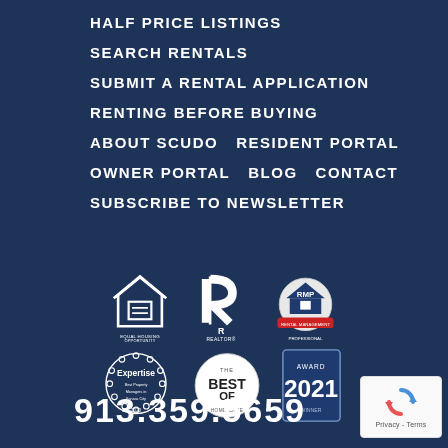HALF PRICE LISTINGS
SEARCH RENTALS
SUBMIT A RENTAL APPLICATION
RENTING BEFORE BUYING
ABOUT SCUDO   RESIDENT PORTAL
OWNER PORTAL   BLOG   CONTACT
SUBSCRIBE TO NEWSLETTER
[Figure (logo): Equal Housing Opportunity logo]
[Figure (logo): Realtor logo]
[Figure (logo): RMP Rental Management Professional badge]
[Figure (logo): Expertise badge 2020 Best Property Managers in Kansas City]
[Figure (logo): The Best Of badge]
[Figure (logo): 2021 award badge]
913.359.5659